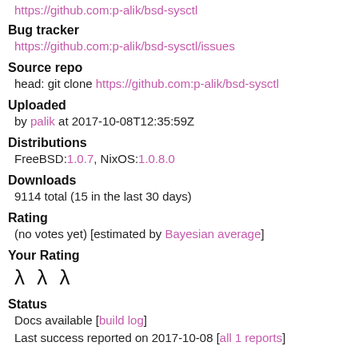https://github.com:p-alik/bsd-sysctl
Bug tracker
https://github.com:p-alik/bsd-sysctl/issues
Source repo
head: git clone https://github.com:p-alik/bsd-sysctl
Uploaded
by palik at 2017-10-08T12:35:59Z
Distributions
FreeBSD:1.0.7, NixOS:1.0.8.0
Downloads
9114 total (15 in the last 30 days)
Rating
(no votes yet) [estimated by Bayesian average]
Your Rating
λ λ λ
Status
Docs available [build log]
Last success reported on 2017-10-08 [all 1 reports]